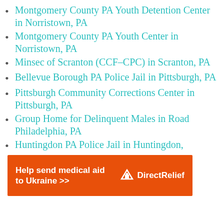Montgomery County PA Youth Detention Center in Norristown, PA
Montgomery County PA Youth Center in Norristown, PA
Minsec of Scranton (CCF-CPC) in Scranton, PA
Bellevue Borough PA Police Jail in Pittsburgh, PA
Pittsburgh Community Corrections Center in Pittsburgh, PA
Group Home for Delinquent Males in Road Philadelphia, PA
Huntingdon PA Police Jail in Huntingdon, PA
[Figure (infographic): Orange advertisement banner reading 'Help send medical aid to Ukraine >>' with DirectRelief logo on the right]